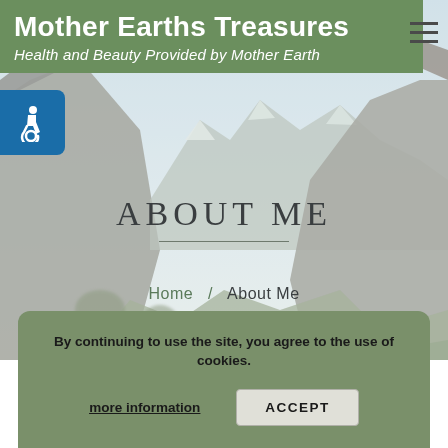Mother Earths Treasures — Health and Beauty Provided by Mother Earth
[Figure (photo): Mountain valley landscape with rocky cliffs and snow-capped peaks under a light blue sky, used as hero background image]
ABOUT ME
Home / About Me
By continuing to use the site, you agree to the use of cookies.
more information
ACCEPT